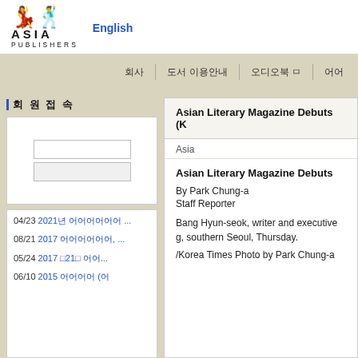[Figure (logo): Asia Publishers logo with two dancing figures above text ASIA PUBLISHERS]
ASIA PUBLISHERS  English
회원접속 (Korean nav items)
｜회 원 접 속
[Figure (screenshot): Login form with two input fields inside white box]
04/23 2021년 어쩌구저쩌구 ...
08/21 2017 어쩌구저쩌구, ...
05/24 2017 □21□ 어어...
06/10 2015 어어어어 (어
Asian Literary Magazine Debuts (K
Asia
Asian Literary Magazine Debuts
By Park Chung-a
Staff Reporter
Bang Hyun-seok, writer and executive g, southern Seoul, Thursday.
/Korea Times Photo by Park Chung-a